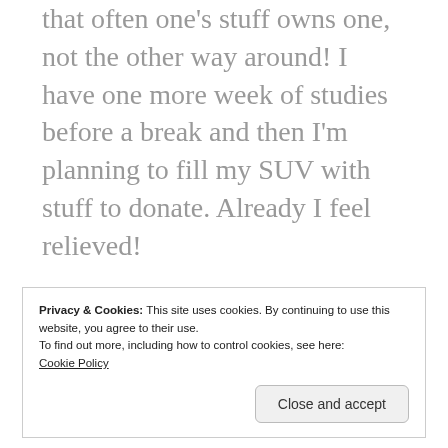that often one's stuff owns one, not the other way around! I have one more week of studies before a break and then I'm planning to fill my SUV with stuff to donate. Already I feel relieved!
★ Like
Privacy & Cookies: This site uses cookies. By continuing to use this website, you agree to their use.
To find out more, including how to control cookies, see here:
Cookie Policy
Close and accept